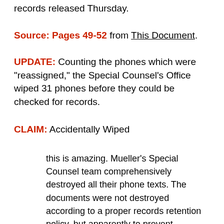records released Thursday.
Source: Pages 49-52 from This Document.
UPDATE: Counting the phones which were “reassigned,” the Special Counsel’s Office wiped 31 phones before they could be checked for records.
CLAIM: Accidentally Wiped
this is amazing. Mueller's Special Counsel team comprehensively destroyed all their phone texts. The documents were not destroyed according to a proper records retention policy, but apparently to prevent